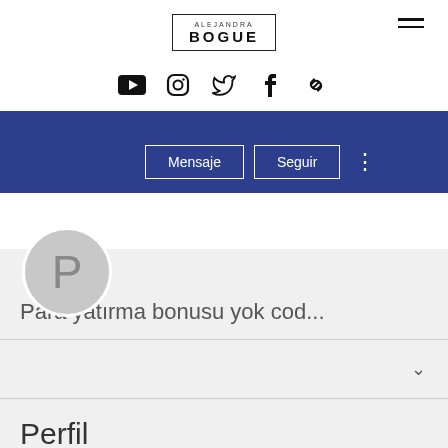[Figure (logo): Alejandra Bogue logo in bordered box with hamburger menu icon on the right]
[Figure (infographic): Social media icons row: YouTube, Instagram, Twitter, Facebook, Link]
[Figure (screenshot): Profile card with blue banner, avatar circle with P, Mensaje and Seguir buttons]
Para yatırma bonusu yok cod...
Perfil